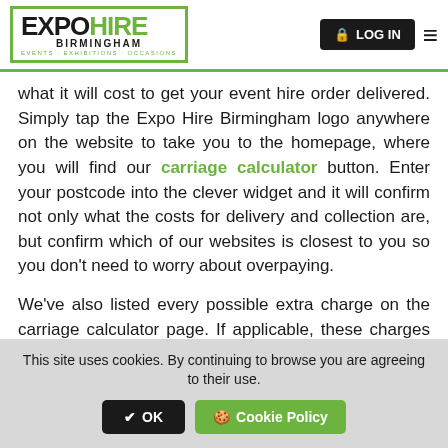EXPO HIRE BIRMINGHAM - EVENTS · EXHIBITIONS · OCCASIONS | LOG IN
what it will cost to get your event hire order delivered. Simply tap the Expo Hire Birmingham logo anywhere on the website to take you to the homepage, where you will find our carriage calculator button. Enter your postcode into the clever widget and it will confirm not only what the costs for delivery and collection are, but confirm which of our websites is closest to you so you don't need to worry about overpaying.
We've also listed every possible extra charge on the carriage calculator page. If applicable, these charges are confirmed in the checkout once you have confirmed your delivery dates and address
This site uses cookies. By continuing to browse you are agreeing to their use. ✔ OK 🍪 Cookie Policy